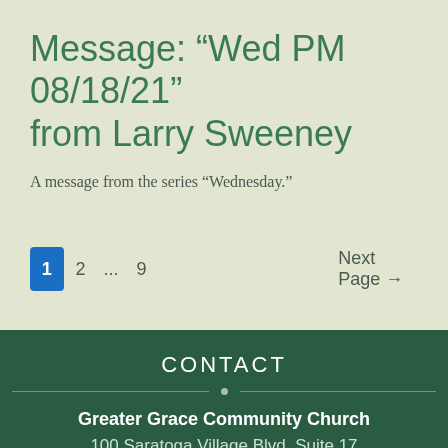Message: “Wed PM 08/18/21” from Larry Sweeney
A message from the series “Wednesday.”
1  2  ...  9  Next Page →
CONTACT
Greater Grace Community Church
100 Saratoga Village Blvd. Suite 17
Malta, New York 12020